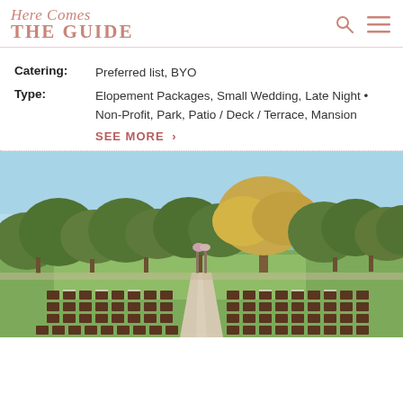Here Comes THE GUIDE
Catering: Preferred list, BYO
Type: Elopement Packages, Small Wedding, Late Night • Non-Profit, Park, Patio / Deck / Terrace, Mansion
SEE MORE >
[Figure (photo): Outdoor wedding ceremony setup with rows of dark wooden chairs arranged on a patio, facing a floral arch. Background shows a large green lawn with tall trees under a clear blue sky.]